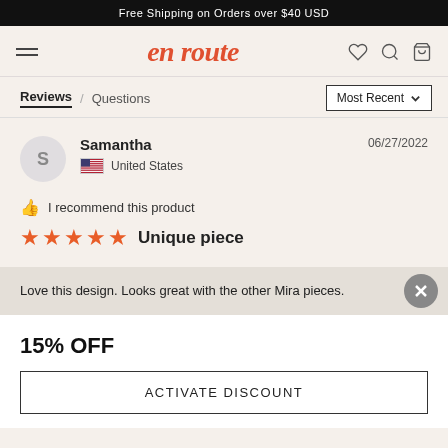Free Shipping on Orders over $40 USD
en route
Reviews / Questions
Most Recent
Samantha
United States
06/27/2022
I recommend this product
Unique piece
Love this design. Looks great with the other Mira pieces.
15% OFF
ACTIVATE DISCOUNT